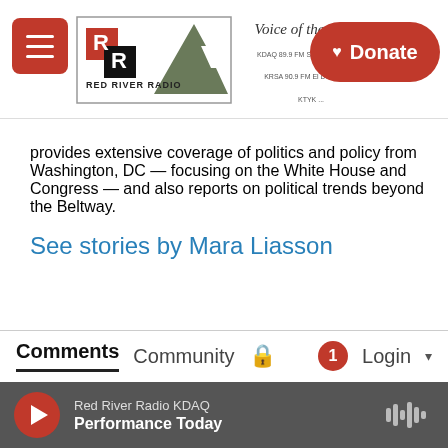Red River Radio | Voice of the Comm... | Donate
provides extensive coverage of politics and policy from Washington, DC — focusing on the White House and Congress — and also reports on political trends beyond the Beltway.
See stories by Mara Liasson
Comments  Community  🔒  1  Login ▾
♡ Favorite  Sort by Best ▾
Red River Radio KDAQ | Performance Today